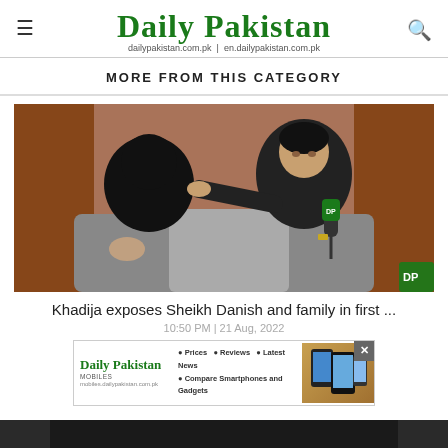Daily Pakistan
dailypakistan.com.pk | en.dailypakistan.com.pk
MORE FROM THIS CATEGORY
[Figure (photo): Two people seated on a sofa: a woman wearing a black niqab/abaya on the left, and a man in black clothing on the right holding a microphone with 'DP' logo, gesturing toward the woman during an interview setting with curtains in background.]
Khadija exposes Sheikh Danish and family in first ...
10:50 PM | 21 Aug, 2022
[Figure (screenshot): Daily Pakistan Mobiles advertisement banner showing the website logo, bullet points for Prices, Reviews, Latest News, Compare Smartphones and Gadgets, and an image of mobile phones on the right side. Has a close (X) button.]